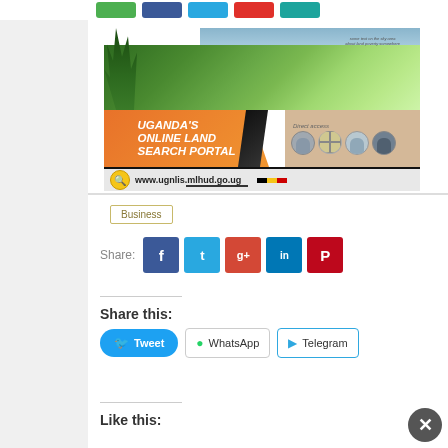[Figure (screenshot): Uganda Online Land Search Portal banner ad with landscape photo, orange/black branding, and URL www.ugnlis.mlhud.go.ug]
Business
Share:
Share this:
Tweet    WhatsApp    Telegram
Like this: